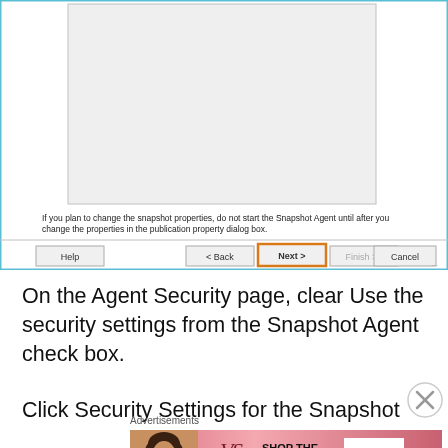[Figure (screenshot): Windows wizard dialog screenshot showing a blank content area, a note about snapshot properties, and navigation buttons (Help, Back, Next, Finish, Cancel). The Next button is highlighted with an orange border.]
If you plan to change the snapshot properties, do not start the Snapshot Agent until after you change the properties in the publication property dialog box.
On the Agent Security page, clear Use the security settings from the Snapshot Agent check box.
Click Security Settings for the Snapshot Agent to
Advertisements